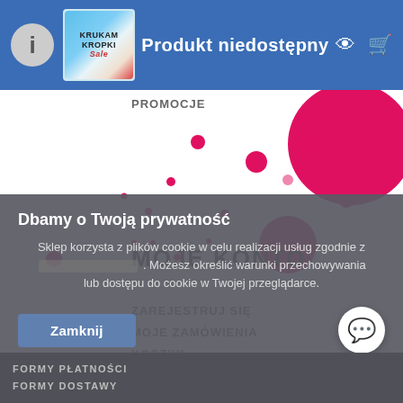Produkt niedostępny
PROMOCJE
MOJE KONTO
ZAREJESTRUJ SIĘ
MOJE ZAMÓWIENIA
KOSZYK
ULUBIONE
HISTORIA TRANSAKCJI
SPRAWDŹ STATUS ZAMÓWIENIA
Dbamy o Twoją prywatność

Sklep korzysta z plików cookie w celu realizacji usług zgodnie z [polityka prywatności]. Możesz określić warunki przechowywania lub dostępu do cookie w Twojej przeglądarce.

Zamknij
FORMY PŁATNOŚCI
FORMY DOSTAWY